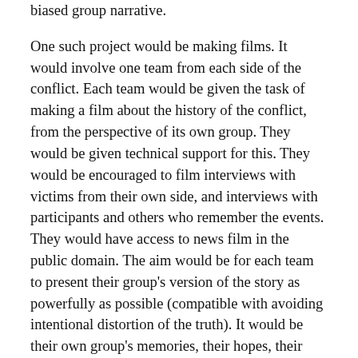biased group narrative.
One such project would be making films. It would involve one team from each side of the conflict. Each team would be given the task of making a film about the history of the conflict, from the perspective of its own group. They would be given technical support for this. They would be encouraged to film interviews with victims from their own side, and interviews with participants and others who remember the events. They would have access to news film in the public domain. The aim would be for each team to present their group's version of the story as powerfully as possible (compatible with avoiding intentional distortion of the truth). It would be their own group's memories, their hopes, their fears, their bitterness or resentment.
The two groups would then meet, to see each other's film. The idea would be for them first to share some of the practical difficulties they had experienced in making such a film. Then there would be discussions of the problems of objectivity in film making on such a subject. The central